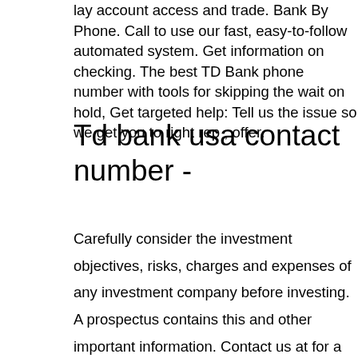lay account access and trade. Bank By Phone. Call to use our fast, easy-to-follow automated system. Get information on checking. The best TD Bank phone number with tools for skipping the wait on hold, Get targeted help: Tell us the issue so we get you to right rep , offer.
Td bank usa contact number -
Carefully consider the investment objectives, risks, charges and expenses of any investment company before investing. A prospectus contains this and other important information. Contact us at for a copy. Read carefully before investing. Market volatility, volume, and system availability may delay account access and trade executions. We w